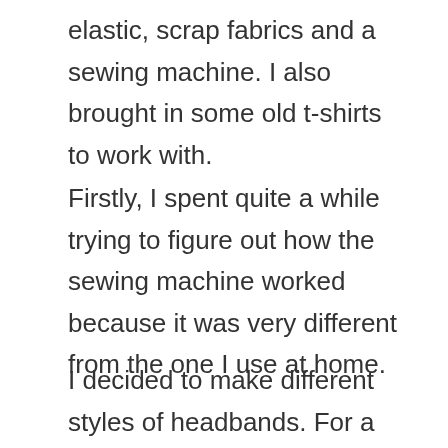elastic, scrap fabrics and a sewing machine. I also brought in some old t-shirts to work with.
Firstly, I spent quite a while trying to figure out how the sewing machine worked because it was very different from the one I use at home.
I decided to make different styles of headbands. For a start, I made a fabric headband with a different patterned fabric on each side by following a